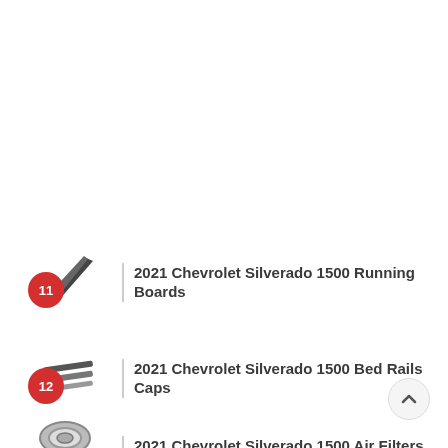2021 Chevrolet Silverado 1500 Running Boards
2021 Chevrolet Silverado 1500 Bed Rails Caps
2021 Chevrolet Silverado 1500 Air Filters
[Figure (other): Scroll-to-top button (chevron up arrow in circle)]